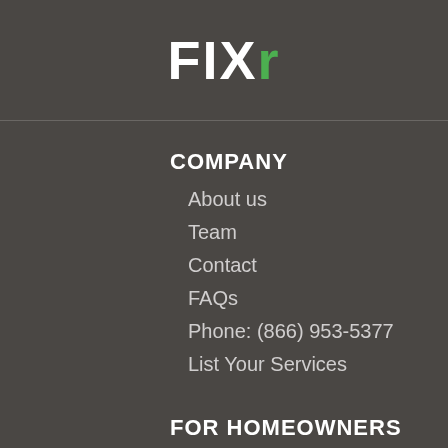[Figure (logo): FIXR logo with white FIX and green R on dark gray background]
COMPANY
About us
Team
Contact
FAQs
Phone: (866) 953-5377
List Your Services
FOR HOMEOWNERS
Log in
Indoor cost guides
Outdoor cost guides
Services cost guides